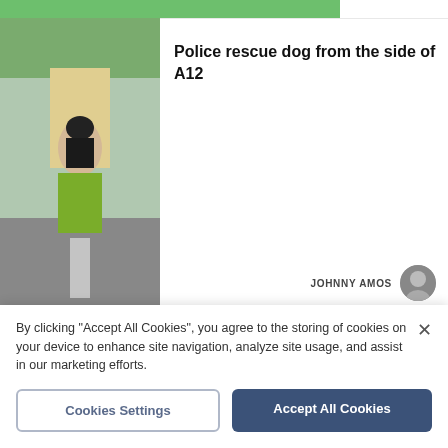[Figure (photo): Green top bar partial image]
[Figure (photo): Police officer holding a black dog on the side of a road, A12]
Police rescue dog from the side of A12
JOHNNY AMOS
[Figure (photo): Police car (yellow Volvo with blue markings) parked on road, A12]
Ipswich man arrested after motorcyclist dies in serious crash on A12
MATTHEW EARTH
By clicking "Accept All Cookies", you agree to the storing of cookies on your device to enhance site navigation, analyze site usage, and assist in our marketing efforts.
Cookies Settings
Accept All Cookies